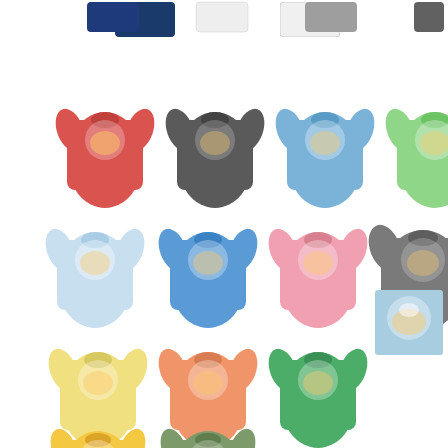[Figure (photo): Product catalog grid showing approximately 14 t-shirts in various colors (navy, white, grey, dark grey, red/pink, charcoal, light blue, light green, pale blue, medium blue, pink, dark grey, yellow, orange/coral, green, and a flat light-blue print square) plus 2 more shirts (light yellow/gold, sage green) in the bottom row, each with a colorful graphic print of children/hands design. Also shows 4 plain color swatches at very top (navy, white, grey, dark grey).]